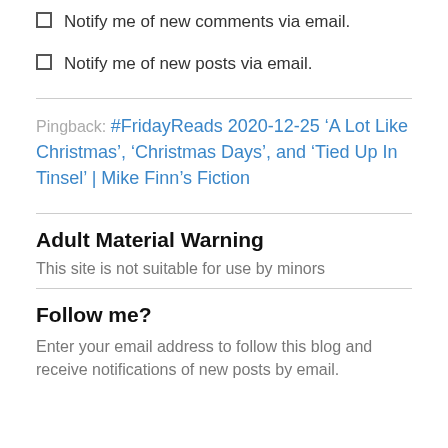Notify me of new comments via email.
Notify me of new posts via email.
Pingback: #FridayReads 2020-12-25 ‘A Lot Like Christmas’, ‘Christmas Days’, and ‘Tied Up In Tinsel’ | Mike Finn’s Fiction
Adult Material Warning
This site is not suitable for use by minors
Follow me?
Enter your email address to follow this blog and receive notifications of new posts by email.